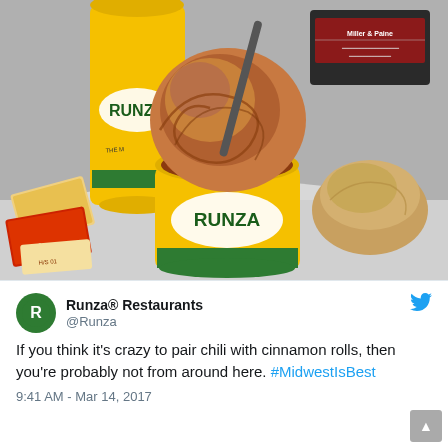[Figure (photo): Photo of Runza branded food items: a yellow Runza cup with chili and a cinnamon roll dipped in it, a yellow Runza drink cup, crackers/snack packets on the left, a bread roll on the right, and a black box with a red label in the background.]
Runza® Restaurants @Runza
If you think it's crazy to pair chili with cinnamon rolls, then you're probably not from around here. #MidwestIsBest
9:41 AM - Mar 14, 2017